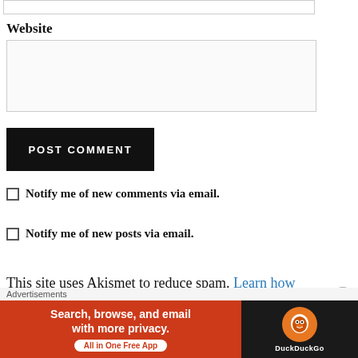(top input bar — partial, cropped)
Website
[Figure (screenshot): Website text input field (empty)]
[Figure (screenshot): POST COMMENT button — black background, white uppercase text]
Notify me of new comments via email.
Notify me of new posts via email.
This site uses Akismet to reduce spam. Learn how
Advertisements
[Figure (screenshot): DuckDuckGo advertisement banner: 'Search, browse, and email with more privacy. All in One Free App' with DuckDuckGo logo on right]